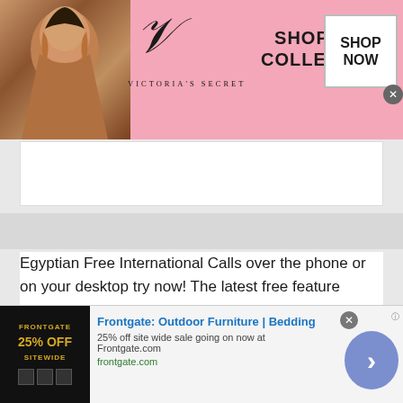[Figure (screenshot): Victoria's Secret banner advertisement with pink background, model, VS logo, 'SHOP THE COLLECTION' text, and 'SHOP NOW' button]
[Figure (screenshot): White placeholder content area below top banner ad]
Egyptian Free International Calls over the phone or on your desktop try now! The latest free feature offered by talkwithstranger gives amazing voice quality you can even chat with strangers and make free calls internationally. No need to learn how to make international calls for free use talkwithstranger free international calling app used by
[Figure (screenshot): Frontgate Outdoor Furniture / Bedding bottom advertisement: '25% off site wide sale going on now at Frontgate.com', frontgate.com link, with forward arrow button and close button]